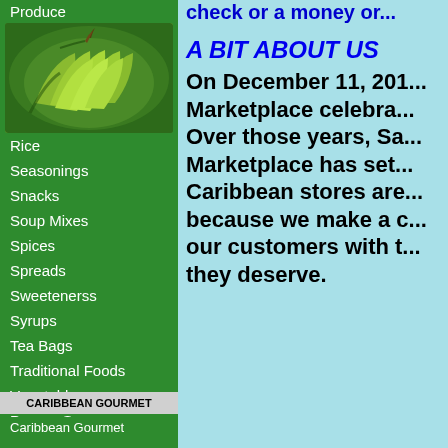check or a money or...
Produce
[Figure (photo): Green bananas bunch]
Rice
Seasonings
Snacks
Soup Mixes
Spices
Spreads
Sweetenerss
Syrups
Tea Bags
Traditional Foods
Vegetables
Pepper Sauces
CARIBBEAN GOURMET
Caribbean Gourmet
A BIT ABOUT US
On December 11, 201... Marketplace celebra... Over those years, Sa... Marketplace has set... Caribbean stores are... because we make a c... our customers with t... they deserve.